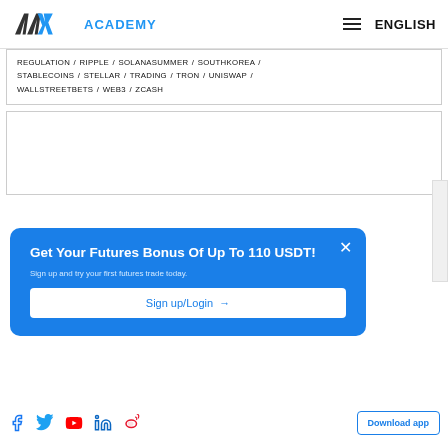AAX ACADEMY  ENGLISH
REGULATION / RIPPLE / SOLANASUMMER / SOUTHKOREA / STABLECOINS / STELLAR / TRADING / TRON / UNISWAP / WALLSTREETBETS / WEB3 / ZCASH
[Figure (screenshot): Empty white content box]
Get Your Futures Bonus Of Up To 110 USDT!
Sign up and try your first futures trade today.
Sign up/Login →
Social icons: Facebook, Twitter, YouTube, LinkedIn, Weibo. Download app button.